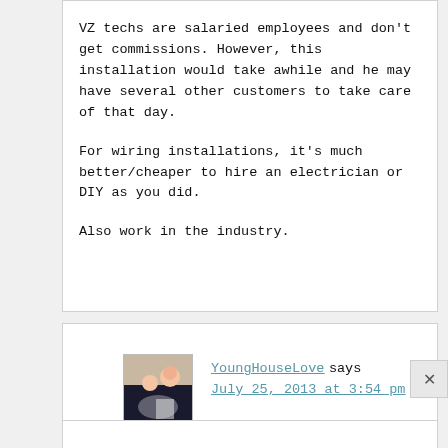VZ techs are salaried employees and don't get commissions. However, this installation would take awhile and he may have several other customers to take care of that day.

For wiring installations, it's much better/cheaper to hire an electrician or DIY as you did.

Also work in the industry.
YoungHouseLove says
July 25, 2013 at 3:54 pm